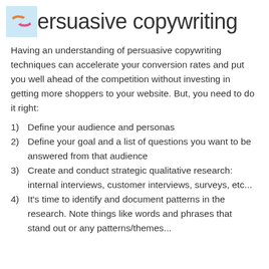Persuasive copywriting
Having an understanding of persuasive copywriting techniques can accelerate your conversion rates and put you well ahead of the competition without investing in getting more shoppers to your website. But, you need to do it right:
1)  Define your audience and personas
2)  Define your goal and a list of questions you want to be answered from that audience
3)  Create and conduct strategic qualitative research: internal interviews, customer interviews, surveys, etc...
4)  It's time to identify and document patterns in the research. Note things like words and phrases that stand out or any patterns/themes...